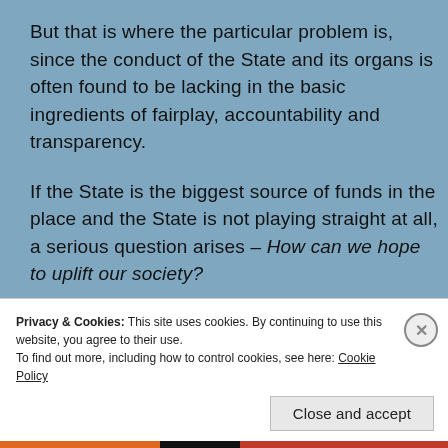But that is where the particular problem is, since the conduct of the State and its organs is often found to be lacking in the basic ingredients of fairplay, accountability and transparency.
If the State is the biggest source of funds in the place and the State is not playing straight at all, a serious question arises – How can we hope to uplift our society?
The State has an over-riding duty to behave in an exemplary fashion in its policy and operations.
Privacy & Cookies: This site uses cookies. By continuing to use this website, you agree to their use.
To find out more, including how to control cookies, see here: Cookie Policy